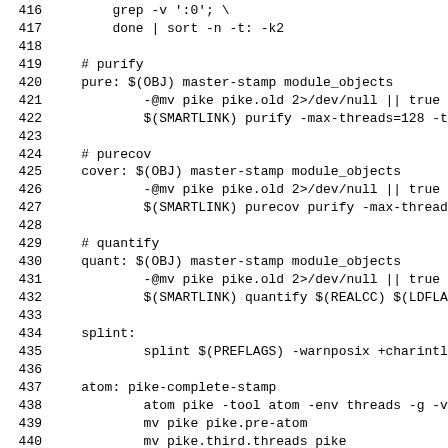Code/Makefile snippet lines 416-441 showing build targets: purify, purecov, quantify, splint, atom
416     grep -v ':0'; \
417     done | sort -n -t: -k2
418
419     # purify
420     pure: $(OBJ) master-stamp module_objects
421             -@mv pike pike.old 2>/dev/null || true
422             $(SMARTLINK) purify -max-threads=128 -thre
423
424     # purecov
425     cover: $(OBJ) master-stamp module_objects
426             -@mv pike pike.old 2>/dev/null || true
427             $(SMARTLINK) purecov purify -max-threads=1
428
429     # quantify
430     quant: $(OBJ) master-stamp module_objects
431             -@mv pike pike.old 2>/dev/null || true
432             $(SMARTLINK) quantify $(REALCC) $(LDFLAGS)
433
434     splint:
435             splint $(PREFLAGS) -warnposix +charintlite
436
437     atom: pike-complete-stamp
438             atom pike -tool atom -env threads -g -v `t
439             mv pike pike.pre-atom
440             mv pike.third.threads pike
441             @echo Make sure you have '.' in your LD_LI